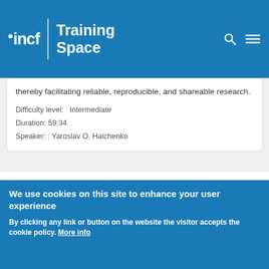incf | Training Space
thereby facilitating reliable, reproducible, and shareable research.
Difficulty level:   Intermediate
Duration: 59:34
Speaker: : Yaroslav O. Halchenko
The Brain Imaging Data Structure (BIDS)
Course:
[Figure (screenshot): Screenshot of a presentation slide showing 'Folder organization' text on a light background, displayed on a monitor in a dark room]
We use cookies on this site to enhance your user experience
By clicking any link or button on the website the visitor accepts the cookie policy. More info